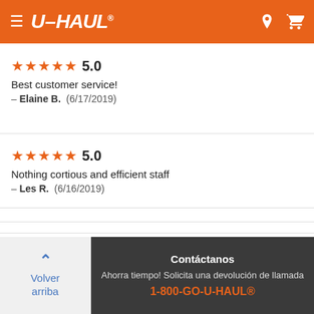[Figure (screenshot): U-Haul orange navigation header with hamburger menu icon, U-HAUL logo, location pin icon, and shopping cart icon]
★★★★★ 5.0
Best customer service!
— Elaine B.  (6/17/2019)
★★★★★ 5.0
Nothing cortious and efficient staff
— Les R.  (6/16/2019)
Servicios adicionales en esta ubicación
Volver arriba | Contáctanos | Ahorra tiempo! Solicita una devolución de llamada